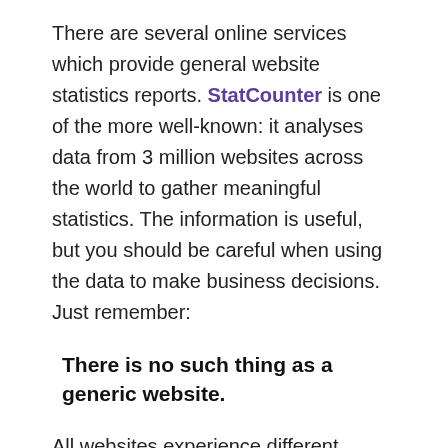There are several online services which provide general website statistics reports. StatCounter is one of the more well-known: it analyses data from 3 million websites across the world to gather meaningful statistics. The information is useful, but you should be careful when using the data to make business decisions. Just remember:
There is no such thing as a generic website.
All websites experience different usage and demographic figures depending on their content and target audience. We can draw some obvious conclusions: